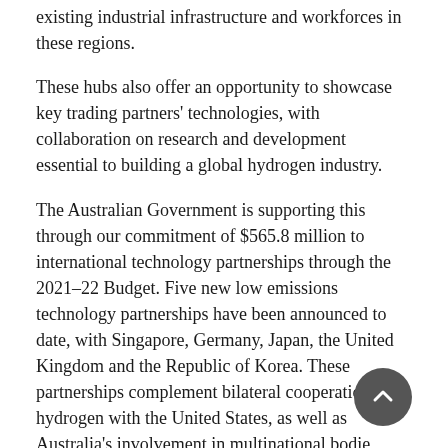existing industrial infrastructure and workforces in these regions.
These hubs also offer an opportunity to showcase key trading partners' technologies, with collaboration on research and development essential to building a global hydrogen industry.
The Australian Government is supporting this through our commitment of $565.8 million to international technology partnerships through the 2021–22 Budget. Five new low emissions technology partnerships have been announced to date, with Singapore, Germany, Japan, the United Kingdom and the Republic of Korea. These partnerships complement bilateral cooperation on hydrogen with the United States, as well as Australia's involvement in multinational bodie
Building a successful hydrogen industry for Australia can only be done through a genuine partnership